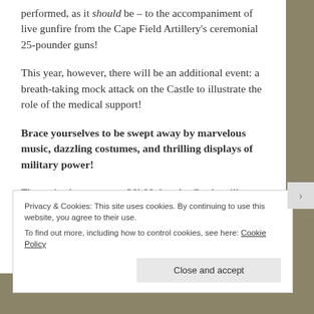performed, as it should be – to the accompaniment of live gunfire from the Cape Field Artillery's ceremonial 25-pounder guns!
This year, however, there will be an additional event: a breath-taking mock attack on the Castle to illustrate the role of the medical support!
Brace yourselves to be swept away by marvelous music, dazzling costumes, and thrilling displays of military power!
The main show starts at 20h00, but the Castle will open its
Privacy & Cookies: This site uses cookies. By continuing to use this website, you agree to their use. To find out more, including how to control cookies, see here: Cookie Policy